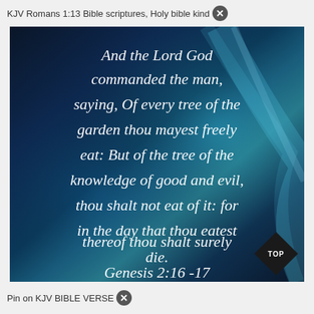KJV Romans 1:13 Bible scriptures, Holy bible kind
[Figure (illustration): Dark blue background with teal/cyan light streaks, overlaid with italic cursive white text of a Bible verse: 'And the Lord God commanded the man, saying, Of every tree of the garden thou mayest freely eat: But of the tree of the knowledge of good and evil, thou shalt not eat of it: for in the day that thou eatest thereof thou shalt surely die. Genesis 2:16-17'. A black diamond badge with 'TOP' appears in lower right corner.]
Pin on KJV BIBLE VERSE